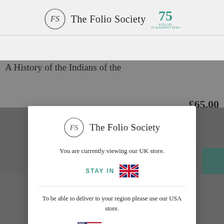[Figure (logo): The Folio Society logo with 75th anniversary mark in teal]
A History of the Indians of the
£65.00
[Figure (logo): The Folio Society modal logo — FS oval monogram with 'The Folio Society' text]
You are currently viewing our UK store.
STAY IN
To be able to deliver to your region please use our USA store.
VISIT NOW
ACCEPT ALL